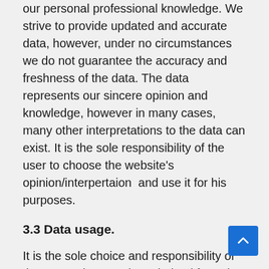our personal professional knowledge. We strive to provide updated and accurate data, however, under no circumstances we do not guarantee the accuracy and freshness of the data. The data represents our sincere opinion and knowledge, however in many cases, many other interpretations to the data can exist. It is the sole responsibility of the user to choose the website's opinion/interpertaion  and use it for his purposes.
3.3 Data usage.
It is the sole choice and responsibility of the user to base actions derived from the data he consum on the website. The website is not liable to any